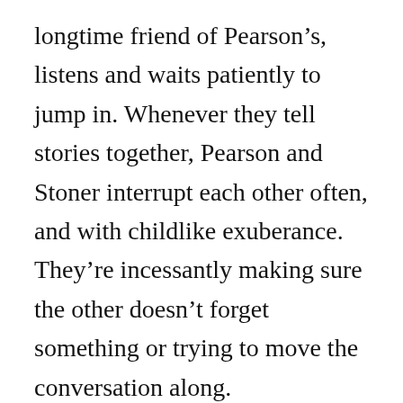longtime friend of Pearson's, listens and waits patiently to jump in. Whenever they tell stories together, Pearson and Stoner interrupt each other often, and with childlike exuberance. They're incessantly making sure the other doesn't forget something or trying to move the conversation along.
Their current passion is a park plan